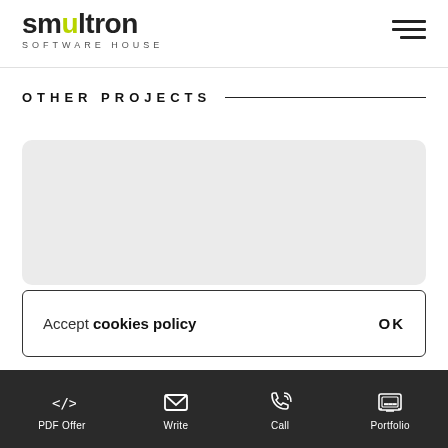Smultron Software House
OTHER PROJECTS
[Figure (other): Light gray rounded card placeholder area for a project]
Accept cookies policy  OK
PDF Offer  Write  Call  Portfolio